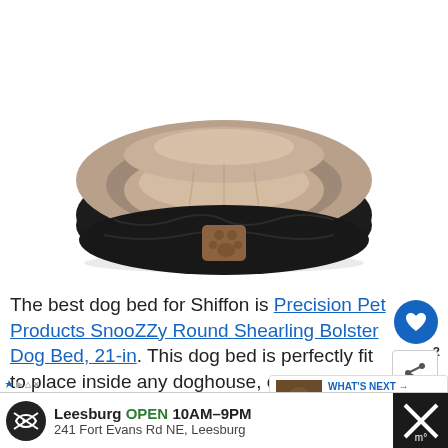[Figure (photo): Round bolster dog bed with beige/tan shearling interior and black textured exterior with a brown paw print patch on the front]
The best dog bed for Shiffon is Precision Pet Products SnooZZy Round Shearling Bolster Dog Bed, 21-in. This dog bed is perfectly fit to place inside any doghouse, crate, kennels, or SUVs so that your Shiffon can take a comfortable... fabric used to create this bed is extremely soft
[Figure (screenshot): WHAT'S NEXT arrow label with Shocker Dog Breed... thumbnail]
[Figure (screenshot): Ad bar: Leesburg OPEN 10AM-9PM 241 Fort Evans Rd NE, Leesburg with navigation arrow icon]